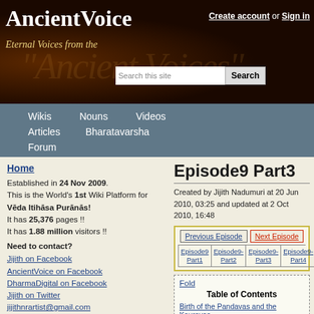AncientVoice — Eternal Voices from the past — Create account or Sign in
[Figure (screenshot): AncientVoice website header with dark background, site title, subtitle, search box, and account links]
Wikis | Nouns | Videos | Articles | Bharatavarsha | Forum
Home
Established in 24 Nov 2009. This is the World's 1st Wiki Platform for Vēda Itihāsa Purānās! It has 25,376 pages !! It has 1.88 million visitors !!
Need to contact?
Jijith on Facebook
AncientVoice on Facebook
DharmaDigital on Facebook
Jijith on Twitter
jijithnrartist@gmail.com
jijithnr@gmail.com
Live Page Count
Episode9 Part3
Created by Jijith Nadumuri at 20 Jun 2010, 03:25 and updated at 2 Oct 2010, 16:48
| Previous Episode | Next Episode |
| --- | --- |
| Episode9-Part1 | Episode9-Part2 | Episode9-Part3 | Episode9-Part4 | ... |
Table of Contents
Birth of the Pandavas and the Kauravas
Summary
References in Mahabharata Wiki
Video
Research and Analysis